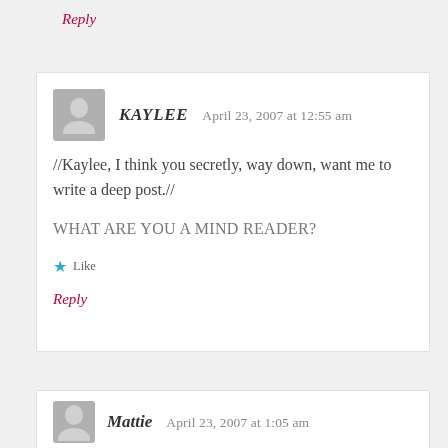Reply
KAYLEE   April 23, 2007 at 12:55 am
//Kaylee, I think you secretly, way down, want me to write a deep post.//
WHAT ARE YOU A MIND READER?
Like
Reply
Mattie   April 23, 2007 at 1:05 am